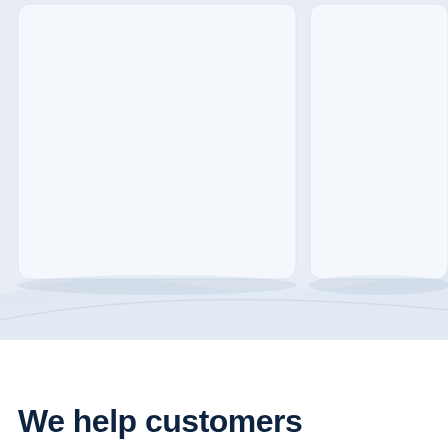[Figure (illustration): Two white/light-blue card panels side by side on a light blue-grey background, partially cropped at top. Below the cards is a diagonal decorative shape transitioning to a white background section.]
We help customers